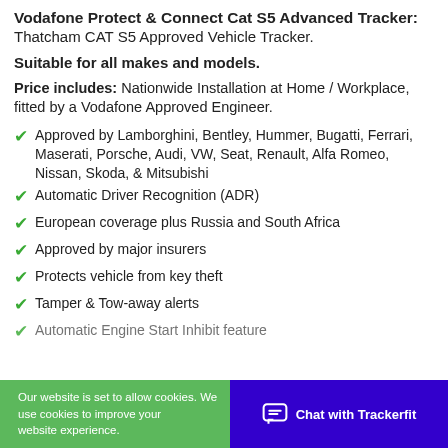Vodafone Protect & Connect Cat S5 Advanced Tracker: Thatcham CAT S5 Approved Vehicle Tracker.
Suitable for all makes and models.
Price includes: Nationwide Installation at Home / Workplace, fitted by a Vodafone Approved Engineer.
Approved by Lamborghini, Bentley, Hummer, Bugatti, Ferrari, Maserati, Porsche, Audi, VW, Seat, Renault, Alfa Romeo, Nissan, Skoda, & Mitsubishi
Automatic Driver Recognition (ADR)
European coverage plus Russia and South Africa
Approved by major insurers
Protects vehicle from key theft
Tamper & Tow-away alerts
Automatic Engine Start Inhibit feature
Our website is set to allow cookies. We use cookies to improve your website experience. Chat with Trackerfit